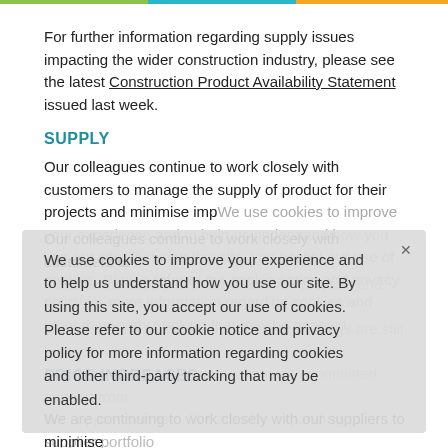For further information regarding supply issues impacting the wider construction industry, please see the latest Construction Product Availability Statement issued last week.
SUPPLY
Our colleagues continue to work closely with customers to manage the supply of product for their projects and minimise impacts where possible. Strong stock holdings are still in place across our national network, along with committed support from our supplier partners. We are also expanding our supplier portfolio to source additional supply in product categories where possible.
We use cookies to improve your experience and to help us understand how you use our site. By using this site, you accept our use of cookies. Please refer to our cookie notice and privacy policy for more information regarding cookies and other third-party tracking that may be enabled.
PRICE INCREASES
We are continuing to work closely with our suppliers to minimise the impact on our customers where possible. A vital part of this